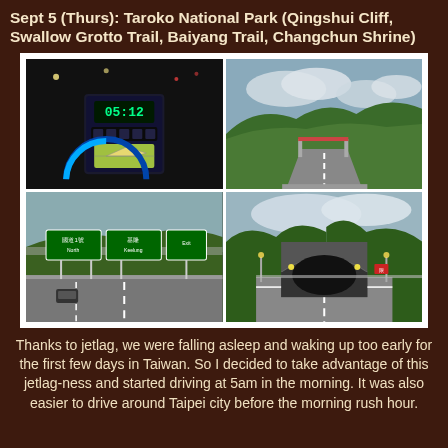Sept 5 (Thurs): Taroko National Park (Qingshui Cliff, Swallow Grotto Trail, Baiyang Trail, Changchun Shrine)
[Figure (photo): Collage of four road/driving photos: top-left shows car dashboard at night with time 05:12 and navigation map; top-right shows highway road with green forested hills and cloudy sky; bottom-left shows highway with green overhead road signs; bottom-right shows highway approach to a tunnel through green forested hillside.]
Thanks to jetlag, we were falling asleep and waking up too early for the first few days in Taiwan. So I decided to take advantage of this jetlag-ness and started driving at 5am in the morning. It was also easier to drive around Taipei city before the morning rush hour.